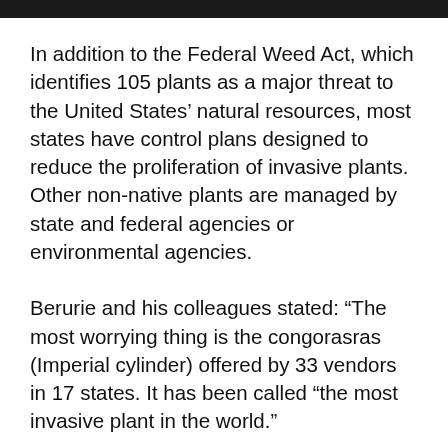In addition to the Federal Weed Act, which identifies 105 plants as a major threat to the United States’ natural resources, most states have control plans designed to reduce the proliferation of invasive plants. Other non-native plants are managed by state and federal agencies or environmental agencies.
Berurie and his colleagues stated: “The most worrying thing is the congorasras (Imperial cylinder) offered by 33 vendors in 17 states. It has been called “the most invasive plant in the world.”
“This is a difficult issue,” said Beuri, as herbalists sell nude grains. But research